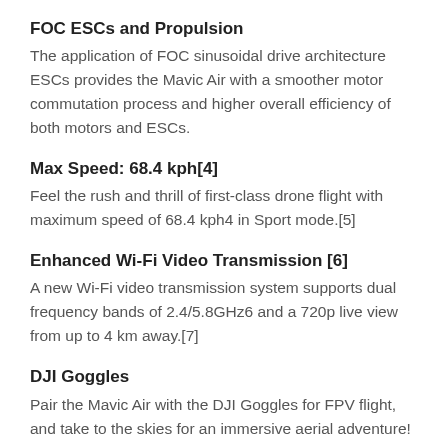FOC ESCs and Propulsion
The application of FOC sinusoidal drive architecture ESCs provides the Mavic Air with a smoother motor commutation process and higher overall efficiency of both motors and ESCs.
Max Speed: 68.4 kph[4]
Feel the rush and thrill of first-class drone flight with maximum speed of 68.4 kph4 in Sport mode.[5]
Enhanced Wi-Fi Video Transmission [6]
A new Wi-Fi video transmission system supports dual frequency bands of 2.4/5.8GHz6 and a 720p live view from up to 4 km away.[7]
DJI Goggles
Pair the Mavic Air with the DJI Goggles for FPV flight, and take to the skies for an immersive aerial adventure!